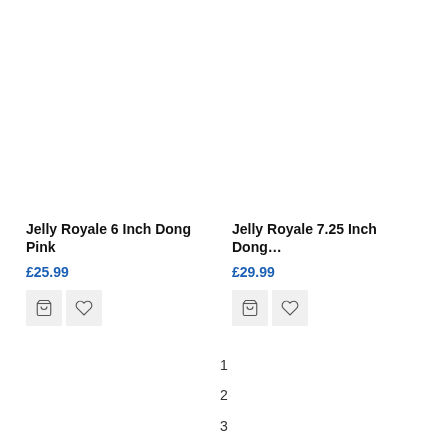Jelly Royale 6 Inch Dong Pink
£25.99
Jelly Royale 7.25 Inch Dong…
£29.99
1
2
3
4
5